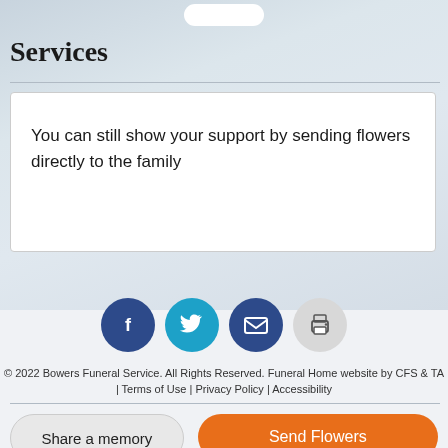Services
You can still show your support by sending flowers directly to the family
[Figure (other): Row of four social sharing icon buttons: Facebook (dark blue circle with f), Twitter (light blue circle with bird), Email (dark blue circle with envelope), Print (gray circle with printer icon)]
© 2022 Bowers Funeral Service. All Rights Reserved. Funeral Home website by CFS & TA | Terms of Use | Privacy Policy | Accessibility
Share a memory
Send Flowers